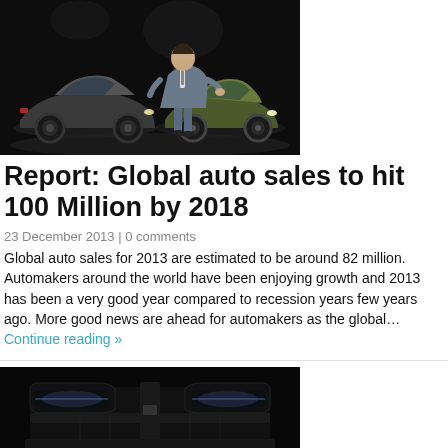[Figure (photo): A man in a suit standing in front of two sports cars (Ford Mustang convertible and coupe) on a dark stage]
Report: Global auto sales to hit 100 Million by 2018
23 December 2013 | 0 comments
Global auto sales for 2013 are estimated to be around 82 million. Automakers around the world have been enjoying growth and 2013 has been a very good year compared to recession years few years ago. More good news are ahead for automakers as the global… Continue reading »
[Figure (photo): Close-up front grille and headlights of a dark car on a dark background]